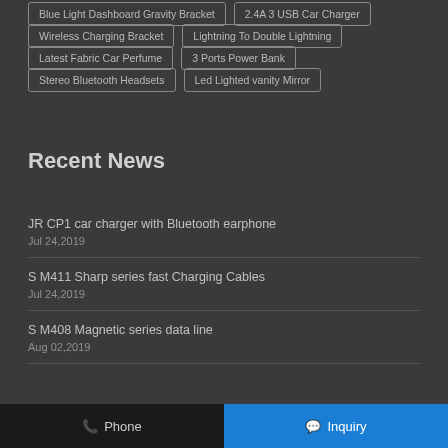Blue Light Dashboard Gravity Bracket
2.4A 3 USB Car Charger
Wireless Charging Bracket
Lightning To Double Lightning
Latest Fabric Car Perfume
3 Ports Power Bank
Stereo Bluetooth Headsets
Led Lighted vanity Mirror
Recent News
JR CP1 car charger with Bluetooth earphone
Jul 24,2019
S M411 Sharp series fast Charging Cables
Jul 24,2019
S M408 Magnetic series data line
Aug 02,2019
Phone   Inquiry